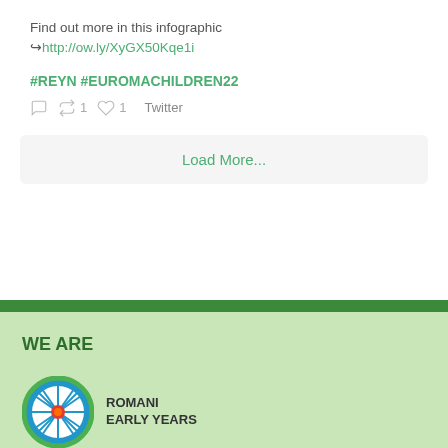Find out more in this infographic ↪http://ow.ly/XyGX50Kqe1i
#REYN #EUROMACHILDREN22
↩1 ♡1 Twitter
Load More...
WE ARE
[Figure (logo): Romani Early Years Network logo with a circular wagon wheel design in blue, green, and red/orange, next to text reading ROMANI EARLY YEARS]